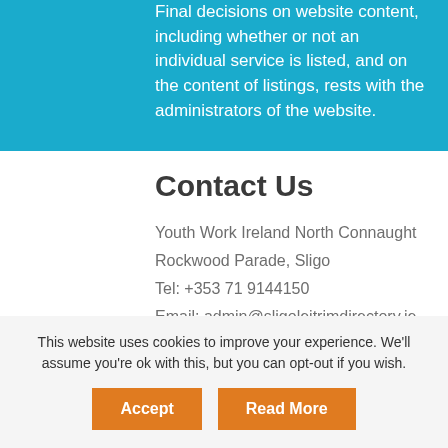Final decisions on website content, including whether or not an individual service is listed, and on the content of listings, rests with the administrators of the website.
Contact Us
Youth Work Ireland North Connaught
Rockwood Parade, Sligo
Tel: +353 71 9144150
Email: admin@sligoleitrimdirectory.ie
Translate website
This website uses cookies to improve your experience. We'll assume you're ok with this, but you can opt-out if you wish.
Accept
Read More